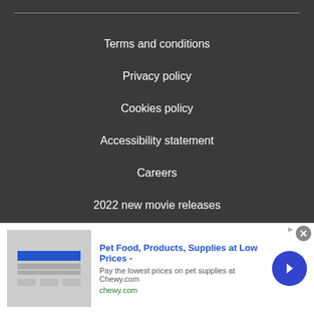Terms and conditions
Privacy policy
Cookies policy
Accessibility statement
Careers
2022 new movie releases
2022 netflix premiere schedule
2022 tv and streaming premiere
[Figure (other): Advertisement banner for Chewy.com pet food and supplies. Shows 'Pet Food, Products, Supplies at Low Prices -' headline in blue, body text 'Pay the lowest prices on pet supplies at Chewy.com', green URL 'chewy.com', with a product image placeholder on the left and a blue circular arrow button on the right. A close (X) button appears at top right.]